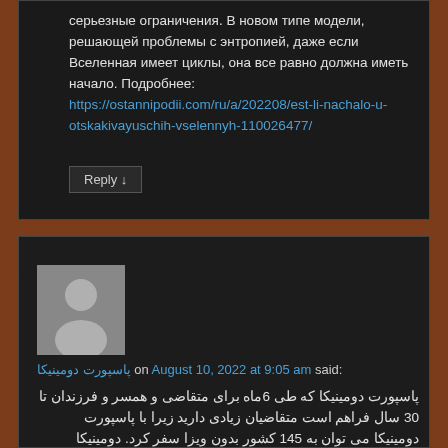серьезные ограничения. В новом типе модели, решающей проблемы с энтропией, даже если Вселенная имеет циклы, она все равно должна иметь начало. Подробнее: https://ostannipodii.com/ru/a/202208/est-li-nachalo-u-otskakivayuschih-vselennyh-110026477/
Reply ↓
[Figure (photo): Default user avatar - grey silhouette of a person on grey background]
پاسپورت دومینیکا on August 10, 2022 at 9:05 am said:
پاسپورت دومینیکا که طی 6ماه برای متقاضی و همسر و فرزندان تا 30 سال فراهم است متقاضیان زیادی دارید زیرا با پاسپورت دومینیکا می توان به 145 کشور بدون ویزا سفر کرد. دومینیکا کشوری در نزدیکی فلوریدای آمریکا است و شهر وندی دومینیکا مادام العمر